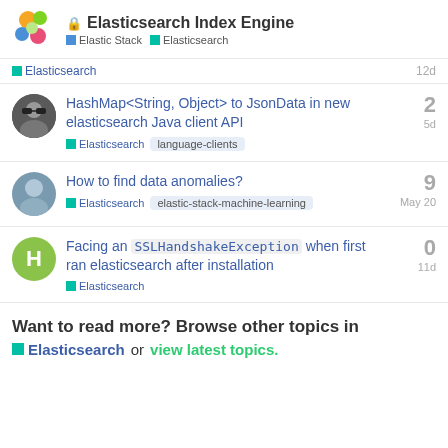Elasticsearch Index Engine — Elastic Stack, Elasticsearch
Elasticsearch   12d
HashMap<String, Object> to JsonData in new elasticsearch Java client API
Elasticsearch   language-clients   5d   replies: 2
How to find data anomalies?
Elasticsearch   elastic-stack-machine-learning   May 20   replies: 9
Facing an `SSLHandshakeException` when first ran elasticsearch after installation
Elasticsearch   11d   replies: 0
Want to read more? Browse other topics in Elasticsearch or view latest topics.